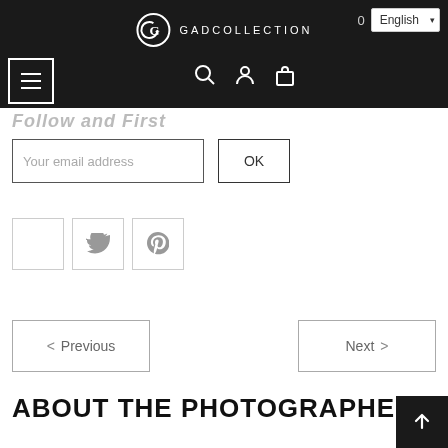GADCOLLECTION
[Figure (screenshot): Website navigation header with GADCOLLECTION logo, hamburger menu, search, user, and cart icons, cart count 0, and English language selector]
Your email address
OK
[Figure (other): Social media icon buttons: blank, Twitter bird, Pinterest P]
< Previous
Next >
ABOUT THE PHOTOGRAPHER